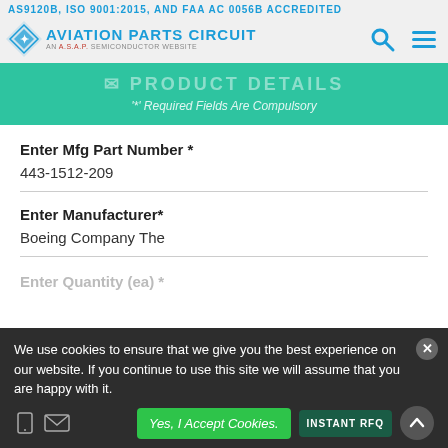AS9120B, ISO 9001:2015, AND FAA AC 0056B ACCREDITED
[Figure (logo): Aviation Parts Circuit logo - AN A.S.A.P. Semiconductor Website, with search and menu icons]
PRODUCT DETAILS
'*' Required Fields Are Compulsory
Enter Mfg Part Number *
443-1512-209
Enter Manufacturer*
Boeing Company The
Enter Quantity (ea) *
We use cookies to ensure that we give you the best experience on our website. If you continue to use this site we will assume that you are happy with it.